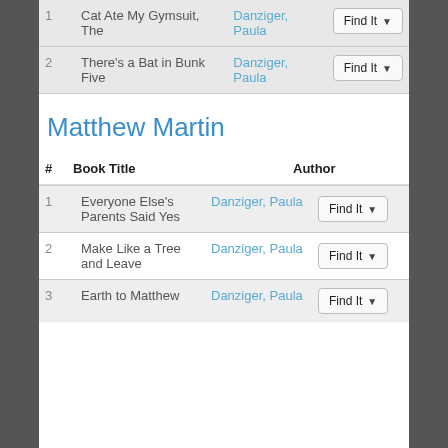| # | Book Title | Author |  |
| --- | --- | --- | --- |
| 1 | Cat Ate My Gymsuit, The | Danziger, Paula | Find It |
| 2 | There's a Bat in Bunk Five | Danziger, Paula | Find It |
Matthew Martin
| # | Book Title | Author |  |
| --- | --- | --- | --- |
| 1 | Everyone Else's Parents Said Yes | Danziger, Paula | Find It |
| 2 | Make Like a Tree and Leave | Danziger, Paula | Find It |
| 3 | Earth to Matthew | Danziger, Paula | Find It |